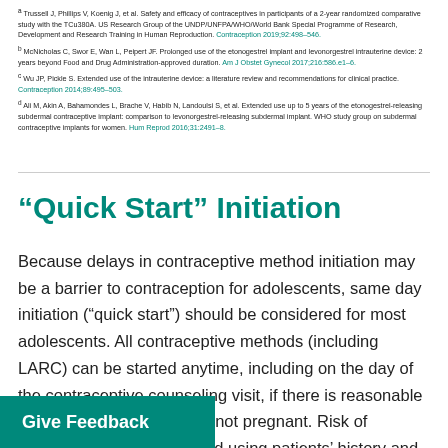a Trussell J, Philips V, Koenig J, et al. Safety and efficacy of contraceptives in participants of a 2-Year randomized comparative study with the TCu380A. US Research Group of the UNDP/UNFPA/WHO/World Bank Special Programme of Research, Development and Research Training in Human Reproduction. Contraception 2019;92:498–546.
b McNicholas C, Swor E, Wan L, Peipert JF. Prolonged use of the etonogestrel implant and levonorgestrel intrauterine device: 2 years beyond Food and Drug Administration-approved duration. Am J Obstet Gynecol 2017;216:586.e1–6.
c Wu JP, Pickle S. Extended use of the intrauterine device: a literature review and recommendations for clinical practice. Contraception 2014;89:495–503.
d Ali M, Akin A, Bahamondes L, Brache V, Habib N, Landoulsi S, et al. Extended use up to 5 years of the etonogestrel-releasing subdernal contraceptive implant: comparison to levonorgestrel-releasing subdermal implant. WHO study group on subdermal contraceptive implants for women. Hum Reprod 2016;31:2491–8.
“Quick Start” Initiation
Because delays in contraceptive method initiation may be a barrier to contraception for adolescents, same day initiation (“quick start”) should be considered for most adolescents. All contraceptive methods (including LARC) can be started anytime, including on the day of the contraceptive counseling visit, if there is reasonable certainty that the patient is not pregnant. Risk of pregnancy can be assessed using patients’ history and urine pregnancy tests [18]. When there is uncertainty about pregnancy, the benefits of starting most methods (implant, injection, combined
Give Feedback